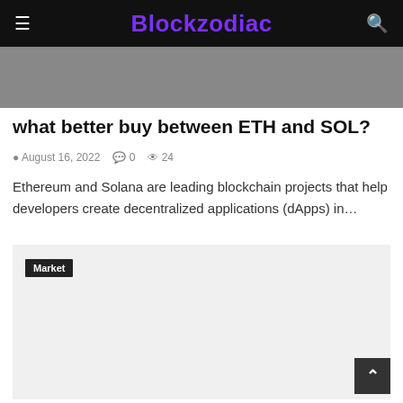Blockzodiac
[Figure (photo): Hero image area with gray background, partial image visible]
what better buy between ETH and SOL?
August 16, 2022  0  24
Ethereum and Solana are leading blockchain projects that help developers create decentralized applications (dApps) in…
[Figure (photo): Gray card area with Market tag label in upper left]
Market